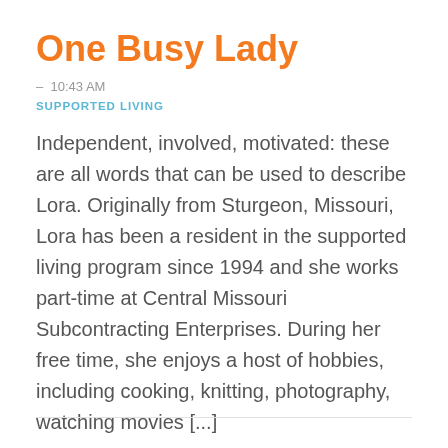One Busy Lady
– 10:43 AM
SUPPORTED LIVING
Independent, involved, motivated: these are all words that can be used to describe Lora. Originally from Sturgeon, Missouri, Lora has been a resident in the supported living program since 1994 and she works part-time at Central Missouri Subcontracting Enterprises. During her free time, she enjoys a host of hobbies, including cooking, knitting, photography, watching movies [...]